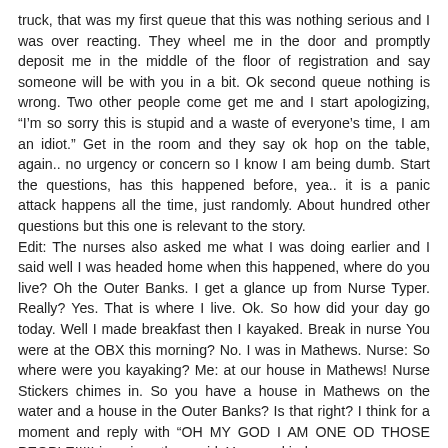truck, that was my first queue that this was nothing serious and I was over reacting. They wheel me in the door and promptly deposit me in the middle of the floor of registration and say someone will be with you in a bit. Ok second queue nothing is wrong. Two other people come get me and I start apologizing, “I’m so sorry this is stupid and a waste of everyone’s time, I am an idiot.” Get in the room and they say ok hop on the table, again.. no urgency or concern so I know I am being dumb. Start the questions, has this happened before, yea.. it is a panic attack happens all the time, just randomly. About hundred other questions but this one is relevant to the story.
Edit: The nurses also asked me what I was doing earlier and I said well I was headed home when this happened, where do you live? Oh the Outer Banks. I get a glance up from Nurse Typer. Really? Yes. That is where I live. Ok. So how did your day go today. Well I made breakfast then I kayaked. Break in nurse You were at the OBX this morning? No. I was in Mathews. Nurse: So where were you kayaking? Me: at our house in Mathews! Nurse Stickers chimes in. So you have a house in Mathews on the water and a house in the Outer Banks? Is that right? I think for a moment and reply with “OH MY GOD I AM ONE OD THOSE PEOPLE!!!!! in unison they said. Yea you kinda are.